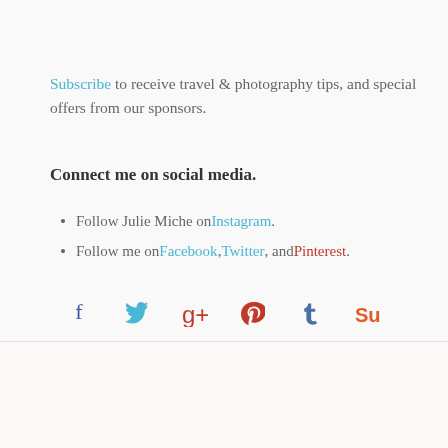Subscribe to receive travel & photography tips, and special offers from our sponsors.
Connect me on social media.
Follow Julie Miche on Instagram.
Follow me on Facebook, Twitter, and Pinterest.
[Figure (infographic): Social media share icons: Facebook, Twitter, Google+, Pinterest, Tumblr, StumbleUpon]
FILED UNDER: CALIFORNIA, SANTA BARBARA
TAGGED WITH: CACHUMA LAKE, CALIFORNIA, CALIFORNIA LAKE, CALIFORNIA TOURISM, ECO TOURISM, ENVIRONMENT,